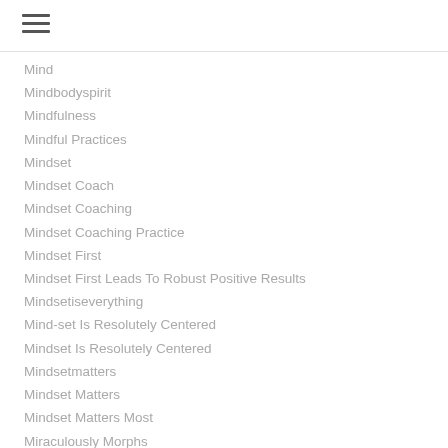Mind
Mindbodyspirit
Mindfulness
Mindful Practices
Mindset
Mindset Coach
Mindset Coaching
Mindset Coaching Practice
Mindset First
Mindset First Leads To Robust Positive Results
Mindsetiseverything
Mind-set Is Resolutely Centered
Mindset Is Resolutely Centered
Mindsetmatters
Mindset Matters
Mindset Matters Most
Miraculously Morphs
Misfortune